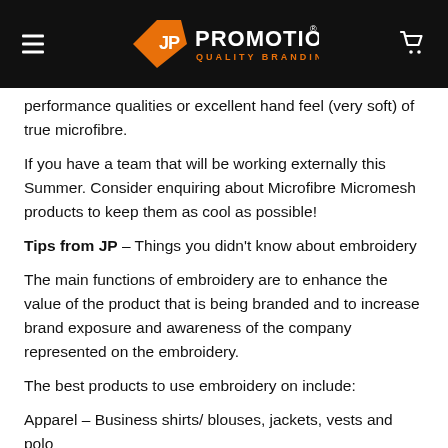JP PROMOTIONS — QUALITY BRANDING
performance qualities or excellent hand feel (very soft) of true microfibre.
If you have a team that will be working externally this Summer. Consider enquiring about Microfibre Micromesh products to keep them as cool as possible!
Tips from JP – Things you didn't know about embroidery
The main functions of embroidery are to enhance the value of the product that is being branded and to increase brand exposure and awareness of the company represented on the embroidery.
The best products to use embroidery on include:
Apparel – Business shirts/ blouses, jackets, vests and polo